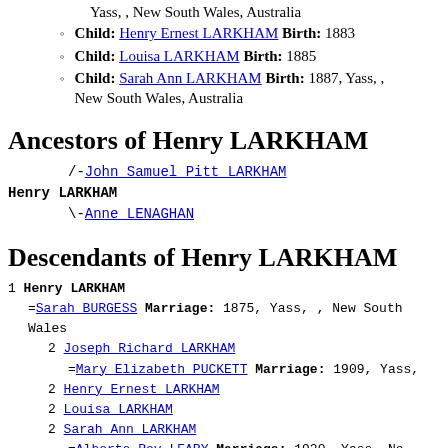Yass, , New South Wales, Australia
Child: Henry Ernest LARKHAM Birth: 1883
Child: Louisa LARKHAM Birth: 1885
Child: Sarah Ann LARKHAM Birth: 1887, Yass, , New South Wales, Australia
Ancestors of Henry LARKHAM
/-John Samuel Pitt LARKHAM
Henry LARKHAM
\-Anne LENAGHAN
Descendants of Henry LARKHAM
1 Henry LARKHAM
=Sarah BURGESS Marriage: 1875, Yass, , New South Wales
2 Joseph Richard LARKHAM
=Mary Elizabeth PUCKETT Marriage: 1909, Yass,
2 Henry Ernest LARKHAM
2 Louisa LARKHAM
2 Sarah Ann LARKHAM
=Alberto Roy LEARY Marriage: 1920, Yass, Ne